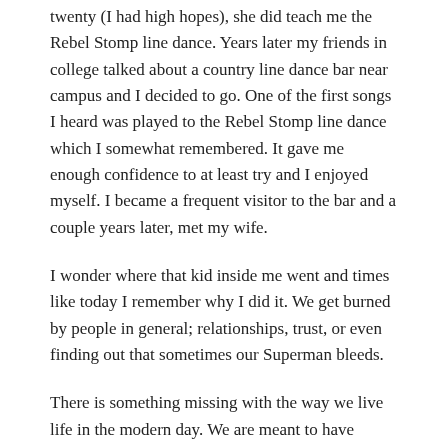twenty (I had high hopes), she did teach me the Rebel Stomp line dance. Years later my friends in college talked about a country line dance bar near campus and I decided to go. One of the first songs I heard was played to the Rebel Stomp line dance which I somewhat remembered. It gave me enough confidence to at least try and I enjoyed myself. I became a frequent visitor to the bar and a couple years later, met my wife.
I wonder where that kid inside me went and times like today I remember why I did it. We get burned by people in general; relationships, trust, or even finding out that sometimes our Superman bleeds.
There is something missing with the way we live life in the modern day. We are meant to have family and community. We train ourselves and our children for a picture of success based on where we want to end up in life with little regard for how we can live it together.
I hope my children live close to home. I know that they probably won't. My wife might joke and say, "Not too close." I don't think we will